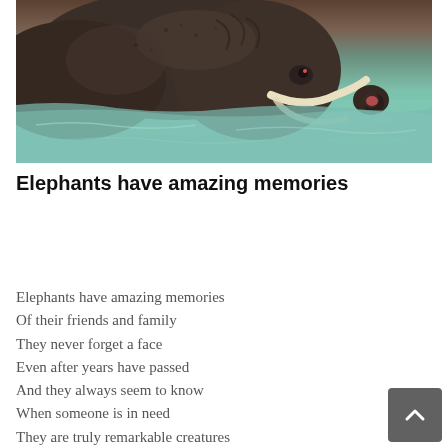[Figure (photo): An elephant swimming in turquoise water, with tusks visible and trunk raised slightly, photographed from close range.]
Elephants have amazing memories
Elephants have amazing memories
Of their friends and family
They never forget a face
Even after years have passed
And they always seem to know
When someone is in need
They are truly remarkable creatures
And we can all learn a thing or two